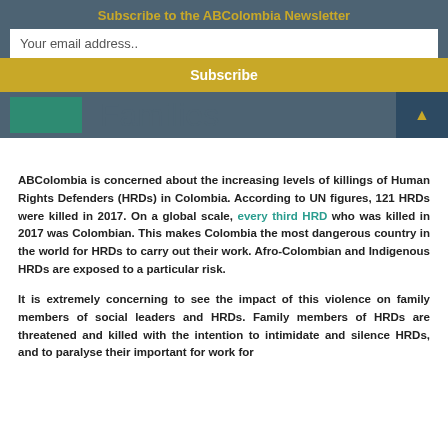Subscribe to the ABColombia Newsletter
Your email address..
Subscribe
Families
ABColombia is concerned about the increasing levels of killings of Human Rights Defenders (HRDs) in Colombia. According to UN figures, 121 HRDs were killed in 2017. On a global scale, every third HRD who was killed in 2017 was Colombian. This makes Colombia the most dangerous country in the world for HRDs to carry out their work. Afro-Colombian and Indigenous HRDs are exposed to a particular risk.
It is extremely concerning to see the impact of this violence on family members of social leaders and HRDs. Family members of HRDs are threatened and killed with the intention to intimidate and silence HRDs, and to paralyse their important for work for